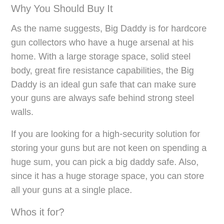Why You Should Buy It
As the name suggests, Big Daddy is for hardcore gun collectors who have a huge arsenal at his home. With a large storage space, solid steel body, great fire resistance capabilities, the Big Daddy is an ideal gun safe that can make sure your guns are always safe behind strong steel walls.
If you are looking for a high-security solution for storing your guns but are not keen on spending a huge sum, you can pick a big daddy safe. Also, since it has a huge storage space, you can store all your guns at a single place.
Whos it for?